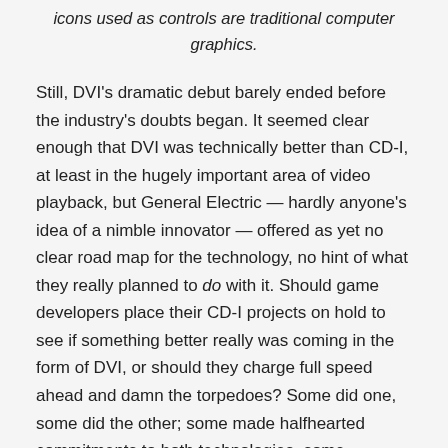icons used as controls are traditional computer graphics.
Still, DVI's dramatic debut barely ended before the industry's doubts began. It seemed clear enough that DVI was technically better than CD-I, at least in the hugely important area of video playback, but General Electric — hardly anyone's idea of a nimble innovator — offered as yet no clear road map for the technology, no hint of what they really planned to do with it. Should game developers place their CD-I projects on hold to see if something better really was coming in the form of DVI, or should they charge full speed ahead and damn the torpedoes? Some did one, some did the other; some made halfhearted commitments to both technologies, some vacillated between them.
But worst of all was the effect that DVI had on Phillips